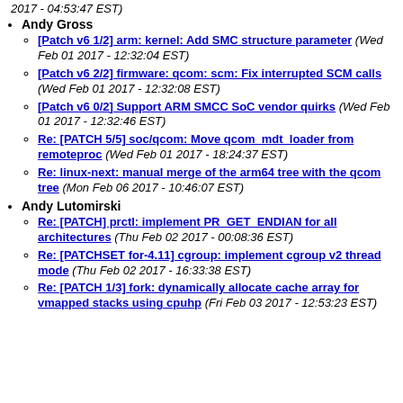2017 - 04:53:47 EST)
Andy Gross
[Patch v6 1/2] arm: kernel: Add SMC structure parameter (Wed Feb 01 2017 - 12:32:04 EST)
[Patch v6 2/2] firmware: qcom: scm: Fix interrupted SCM calls (Wed Feb 01 2017 - 12:32:08 EST)
[Patch v6 0/2] Support ARM SMCC SoC vendor quirks (Wed Feb 01 2017 - 12:32:46 EST)
Re: [PATCH 5/5] soc/qcom: Move qcom_mdt_loader from remoteproc (Wed Feb 01 2017 - 18:24:37 EST)
Re: linux-next: manual merge of the arm64 tree with the qcom tree (Mon Feb 06 2017 - 10:46:07 EST)
Andy Lutomirski
Re: [PATCH] prctl: implement PR_GET_ENDIAN for all architectures (Thu Feb 02 2017 - 00:08:36 EST)
Re: [PATCHSET for-4.11] cgroup: implement cgroup v2 thread mode (Thu Feb 02 2017 - 16:33:38 EST)
Re: [PATCH 1/3] fork: dynamically allocate cache array for vmapped stacks using cpuhp (Fri Feb 03 2017 - 12:53:23 EST)